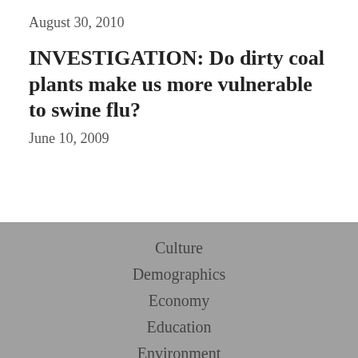August 30, 2010
INVESTIGATION: Do dirty coal plants make us more vulnerable to swine flu?
June 10, 2009
Culture
Demographics
Economy
Education
Environment
History
Human Rights